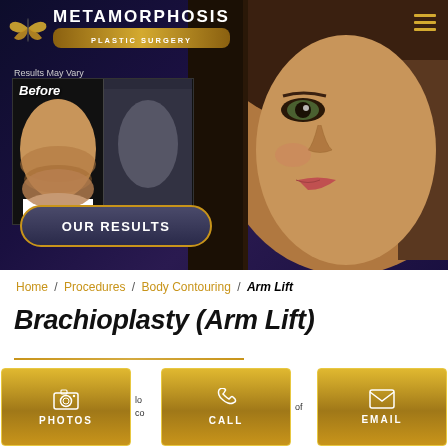[Figure (screenshot): Metamorphosis Plastic Surgery website header hero banner with logo, butterfly icon, before photo showing abdomen, female face close-up, and OUR RESULTS button]
Home / Procedures / Body Contouring / Arm Lift
Brachioplasty (Arm Lift)
[Figure (screenshot): Three action buttons: PHOTOS (camera icon), CALL (phone icon), EMAIL (envelope icon) in gold/amber color]
lo of co